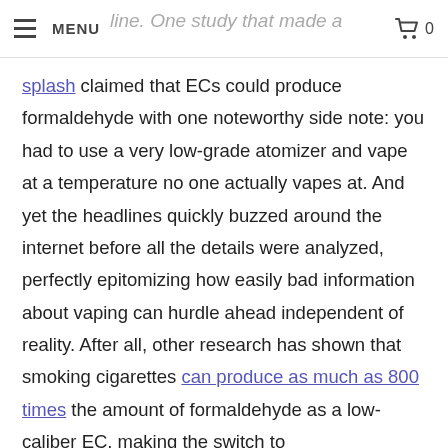MENU | 0
line. One study that made a splash claimed that ECs could produce formaldehyde with one noteworthy side note: you had to use a very low-grade atomizer and vape at a temperature no one actually vapes at. And yet the headlines quickly buzzed around the internet before all the details were analyzed, perfectly epitomizing how easily bad information about vaping can hurdle ahead independent of reality. After all, other research has shown that smoking cigarettes can produce as much as 800 times the amount of formaldehyde as a low-caliber EC, making the switch to